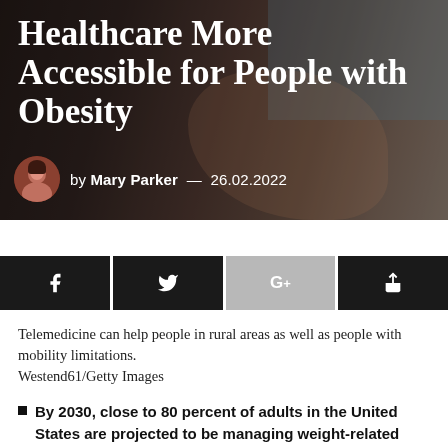[Figure (photo): Hero image with dark overlay showing a person holding a glass, likely an elderly person, with medical/healthcare context. Background shows muted brown and blue tones.]
Healthcare More Accessible for People with Obesity
by Mary Parker — 26.02.2022
[Figure (infographic): Social share bar with four buttons: Facebook, Twitter, Google+, and Share icons]
Telemedicine can help people in rural areas as well as people with mobility limitations. Westend61/Getty Images
By 2030, close to 80 percent of adults in the United States are projected to be managing weight-related health concerns, according to new research.